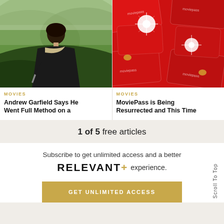[Figure (photo): Man in dark robe standing in green misty hillside landscape]
[Figure (photo): Multiple red MoviePass credit cards arranged in a grid pattern with lens flare effects]
MOVIES
Andrew Garfield Says He Went Full Method on a
MOVIES
MoviePass is Being Resurrected and This Time
1 of 5 free articles
Subscribe to get unlimited access and a better
RELEVANT+ experience.
GET UNLIMITED ACCESS
Scroll To Top